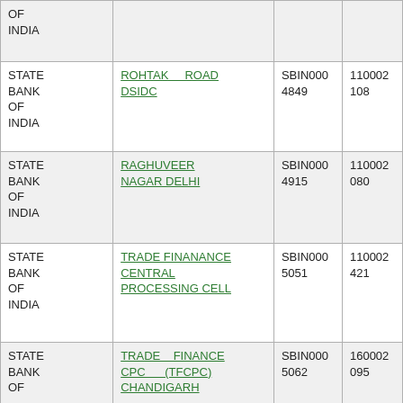| Bank Name | Branch Name | IFSC | MICR |
| --- | --- | --- | --- |
| STATE BANK OF INDIA |  |  |  |
| STATE BANK OF INDIA | ROHTAK ROAD DSIDC | SBIN0004849 | 110002108 |
| STATE BANK OF INDIA | RAGHUVEER NAGAR DELHI | SBIN0004915 | 110002080 |
| STATE BANK OF INDIA | TRADE FINANANCE CENTRAL PROCESSING CELL | SBIN0005051 | 110002421 |
| STATE BANK OF INDIA | TRADE FINANCE CPC (TFCPC) CHANDIGARH | SBIN0005062 | 160002095 |